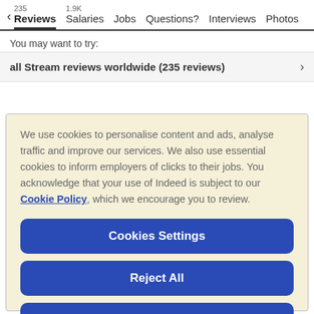< Reviews 235  Salaries 1.9K  Jobs  Questions?  Interviews  Photos
You may want to try:
all Stream reviews worldwide (235 reviews) >
We use cookies to personalise content and ads, analyse traffic and improve our services. We also use essential cookies to inform employers of clicks to their jobs. You acknowledge that your use of Indeed is subject to our Cookie Policy, which we encourage you to review.
Cookies Settings
Reject All
Accept All Cookies